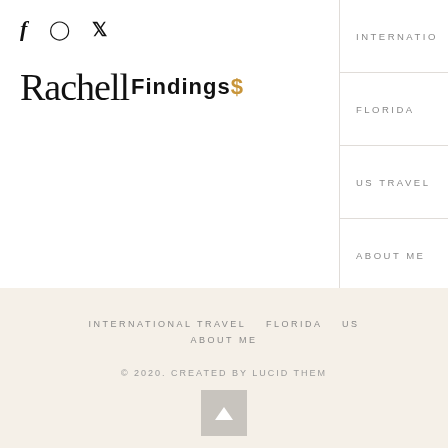f  (instagram)  (pinterest)
[Figure (logo): Rachell Findings logo with script 'Rachell' and bold 'Findings' text with a gold dollar sign]
INTERNATIONAL TRAVEL
FLORIDA
US TRAVEL
ABOUT ME
INTERNATIONAL TRAVEL  FLORIDA  US  ABOUT ME
© 2020. CREATED BY LUCID THEME